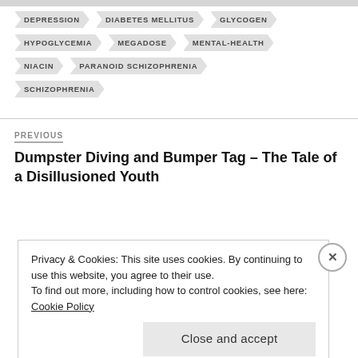DEPRESSION
DIABETES MELLITUS
GLYCOGEN
HYPOGLYCEMIA
MEGADOSE
MENTAL-HEALTH
NIACIN
PARANOID SCHIZOPHRENIA
SCHIZOPHRENIA
PREVIOUS
Dumpster Diving and Bumper Tag – The Tale of a Disillusioned Youth
Privacy & Cookies: This site uses cookies. By continuing to use this website, you agree to their use.
To find out more, including how to control cookies, see here: Cookie Policy